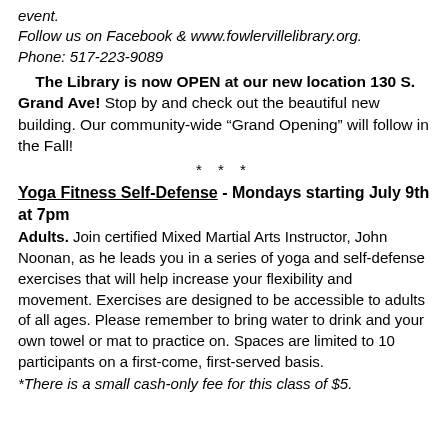event.
Follow us on Facebook & www.fowlervillelibrary.org.
Phone: 517-223-9089
The Library is now OPEN at our new location 130 S. Grand Ave! Stop by and check out the beautiful new building. Our community-wide “Grand Opening” will follow in the Fall!
* * *
Yoga Fitness Self-Defense - Mondays starting July 9th at 7pm
Adults. Join certified Mixed Martial Arts Instructor, John Noonan, as he leads you in a series of yoga and self-defense exercises that will help increase your flexibility and movement. Exercises are designed to be accessible to adults of all ages. Please remember to bring water to drink and your own towel or mat to practice on. Spaces are limited to 10 participants on a first-come, first-served basis.
*There is a small cash-only fee for this class of $5.